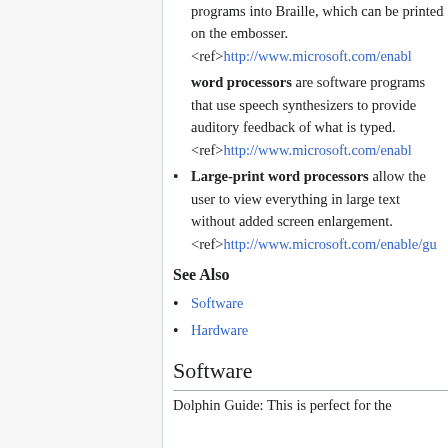programs into Braille, which can be printed on the embosser. <ref>http://www.microsoft.com/enabl
word processors are software programs that use speech synthesizers to provide auditory feedback of what is typed. <ref>http://www.microsoft.com/enabl
Large-print word processors allow the user to view everything in large text without added screen enlargement. <ref>http://www.microsoft.com/enable/gu
See Also
Software
Hardware
Software
Dolphin Guide: This is perfect for the